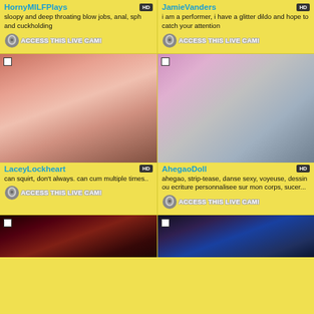HornyMILFPlays
sloopy and deep throating blow jobs, anal, sph and cuckholding
[Figure (screenshot): ACCESS THIS LIVE CAM button with cam icon]
JamieVanders
i am a performer, i have a glitter dildo and hope to catch your attention
[Figure (screenshot): ACCESS THIS LIVE CAM button with cam icon]
[Figure (photo): LaceyLockheart profile photo - woman with brown hair closeup selfie]
LaceyLockheart
can squirt, don't always. can cum multiple times..
[Figure (screenshot): ACCESS THIS LIVE CAM button with cam icon]
[Figure (photo): AhegaoDoll profile photo - woman with pink hair sticking tongue out]
AhegaoDoll
ahegao, strip-tease, danse sexy, voyeuse, dessin ou ecriture personnalisee sur mon corps, sucer...
[Figure (screenshot): ACCESS THIS LIVE CAM button with cam icon]
[Figure (photo): Bottom left profile photo - dark scene with red elements]
[Figure (photo): Bottom right profile photo - dark blue/teal lit scene]